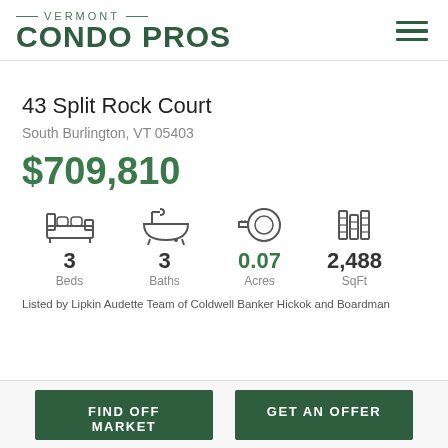[Figure (logo): Vermont Condo Pros logo with green text and hamburger menu icon]
43 Split Rock Court
South Burlington, VT 05403
$709,810
[Figure (infographic): Property stats: 3 Beds, 3 Baths, 0.07 Acres, 2,488 SqFt with icons]
Listed by Lipkin Audette Team of Coldwell Banker Hickok and Boardman
FIND OFF MARKET   GET AN OFFER